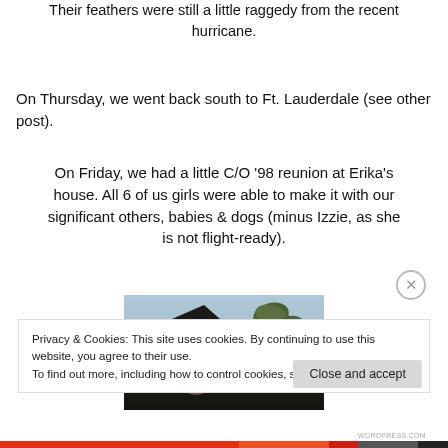Their feathers were still a little raggedy from the recent hurricane.
On Thursday, we went back south to Ft. Lauderdale (see other post).
On Friday, we had a little C/O '98 reunion at Erika's house. All 6 of us girls were able to make it with our significant others, babies & dogs (minus Izzie, as she is not flight-ready).
[Figure (photo): Outdoor photo showing a person with palm trees and rooftops in the background]
Privacy & Cookies: This site uses cookies. By continuing to use this website, you agree to their use.
To find out more, including how to control cookies, see here: Cookie Policy
Close and accept